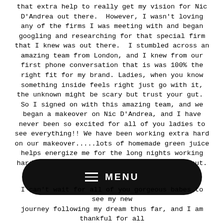that extra help to really get my vision for Nic D'Andrea out there. However, I wasn't loving any of the firms I was meeting with and began googling and researching for that special firm that I knew was out there. I stumbled across an amazing team from London, and I knew from our first phone conversation that is was 100% the right fit for my brand. Ladies, when you know something inside feels right just go with it, the unknown might be scary but trust your gut. So I signed on with this amazing team, and we began a makeover on Nic D'Andrea, and I have never been so excited for all of you ladies to see everything!! We have been working extra hard on our makeover.....lots of homemade green juice helps energize me for the long nights working hard and I always make time for a good workout.
[Figure (screenshot): Black pill-shaped menu bar with hamburger icon and MENU text]
I can't wait for all of you gorgeous babes to see my new journey following my dream thus far, and I am thankful for all